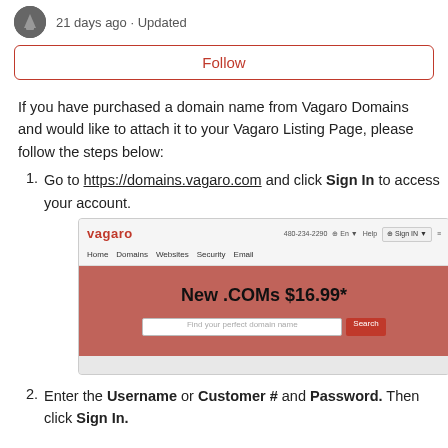21 days ago · Updated
Follow
If you have purchased a domain name from Vagaro Domains and would like to attach it to your Vagaro Listing Page, please follow the steps below:
Go to https://domains.vagaro.com and click Sign In to access your account.
[Figure (screenshot): Screenshot of the Vagaro Domains website homepage showing the logo, navigation bar with Home, Domains, Websites, Security, Email links, and a red hero section with 'New .COMs $16.99*' text and a search bar.]
Enter the Username or Customer # and Password. Then click Sign In.